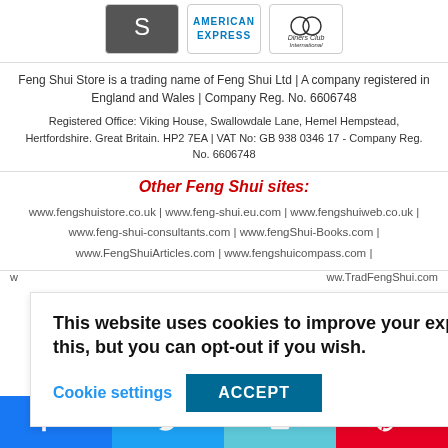[Figure (logo): Three payment logos: Scribd-like swirl logo (dark background), American Express logo, Diners Club International logo]
Feng Shui Store is a trading name of Feng Shui Ltd | A company registered in England and Wales | Company Reg. No. 6606748
Registered Office: Viking House, Swallowdale Lane, Hemel Hempstead, Hertfordshire. Great Britain. HP2 7EA | VAT No: GB 938 0346 17 - Company Reg. No. 6606748
Other Feng Shui sites:
www.fengshuistore.co.uk | www.feng-shui.eu.com | www.fengshuiweb.co.uk | www.feng-shui-consultants.com | www.fengShui-Books.com | www.FengShuiArticles.com | www.fengshuicompass.com | www.TradFengShui.com
This website uses cookies to improve your experience. We'll assume you're ok with this, but you can opt-out if you wish.
Cookie settings  ACCEPT